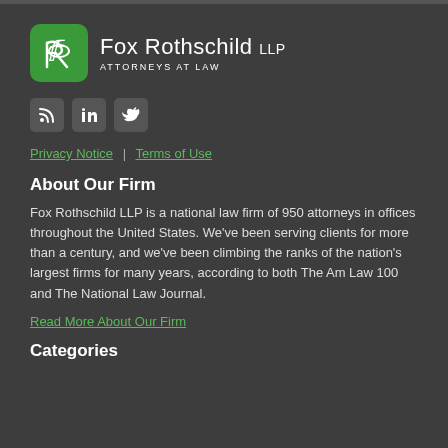[Figure (logo): Fox Rothschild LLP Attorneys at Law logo with green rounded square icon containing stylized F and R letters]
[Figure (other): Social media icons: RSS feed, LinkedIn, Twitter]
Privacy Notice | Terms of Use
About Our Firm
Fox Rothschild LLP is a national law firm of 950 attorneys in offices throughout the United States. We've been serving clients for more than a century, and we've been climbing the ranks of the nation's largest firms for many years, according to both The Am Law 100 and The National Law Journal.
Read More About Our Firm
Categories